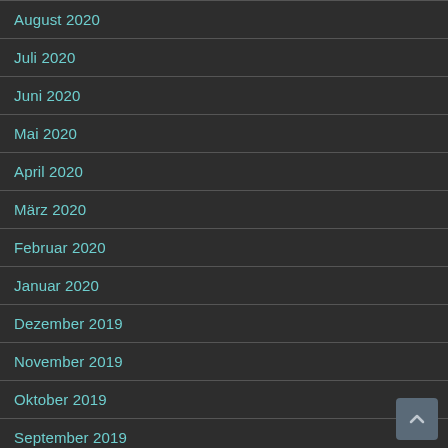August 2020
Juli 2020
Juni 2020
Mai 2020
April 2020
März 2020
Februar 2020
Januar 2020
Dezember 2019
November 2019
Oktober 2019
September 2019
August 2019